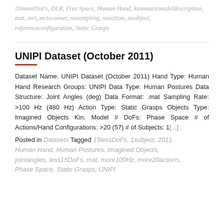20moreDoFs, DLR, Free Space, Human Hand, kinematicmodeldescription, mat, mri, mriscanner, nasampling, noaction, noobject, referenceconfiguration, Static Grasps
UNIPI Dataset (October 2011)
Dataset Name: UNIPI Dataset (October 2011) Hand Type: Human Hand Research Groups: UNIPI Data Type: Human Postures Data Structure: Joint Angles (deg) Data Format: .mat Sampling Rate: >100 Hz (480 Hz) Action Type: Static Grasps Objects Type: Imagined Objects Kin. Model # DoFs: Phase Space # of Actions/Hand Configurations: >20 (57) # of Subjects: 1[...]
Posted in Datasets Tagged 15lessDoFs, 1subject, 2011, Human Hand, Human Postures, Imagined Objects, jointangles, less15DoFs, mat, more100Hz, more20actions, Phase Space, Static Grasps, UNIPI